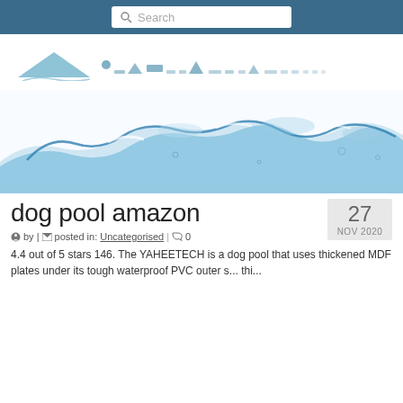Search
[Figure (logo): Website logo with mountain/wave icon and decorative text in blue]
[Figure (photo): Splashing blue water wave on white background]
dog pool amazon
27 NOV 2020
by | posted in: Uncategorised | 0
4.4 out of 5 stars 146. The YAHEETECH is a dog pool that uses thickened MDF plates under its tough waterproof PVC outer s... thi...